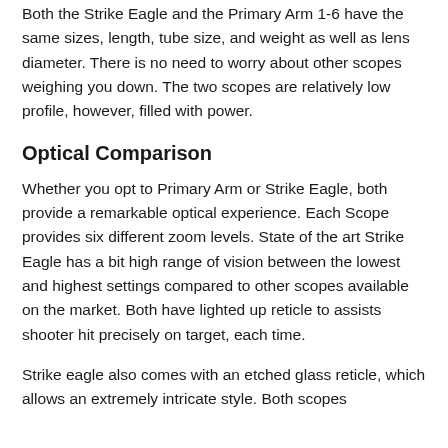Both the Strike Eagle and the Primary Arm 1-6 have the same sizes, length, tube size, and weight as well as lens diameter. There is no need to worry about other scopes weighing you down. The two scopes are relatively low profile, however, filled with power.
Optical Comparison
Whether you opt to Primary Arm or Strike Eagle, both provide a remarkable optical experience. Each Scope provides six different zoom levels. State of the art Strike Eagle has a bit high range of vision between the lowest and highest settings compared to other scopes available on the market. Both have lighted up reticle to assists shooter hit precisely on target, each time.
Strike eagle also comes with an etched glass reticle, which allows an extremely intricate style. Both scopes